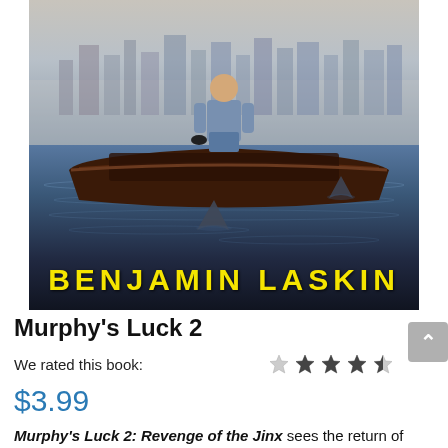[Figure (illustration): Book cover for Murphy's Luck 2 by Benjamin Laskin: a man stands on a wooden boat on dark water with shark fins visible; a foggy city skyline in the background; author name 'BENJAMIN LASKIN' in large yellow bold text at the bottom of the cover.]
Murphy's Luck 2
We rated this book: ★☆☆☆☆ (1.5 stars of 5)
$3.99
Murphy's Luck 2: Revenge of the Jinx sees the return of Murphy Drummer for another unlucky adventure. Murphy is living life to the fullest with his